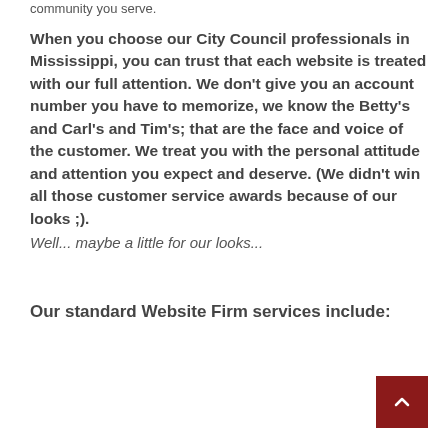community you serve.
When you choose our City Council professionals in Mississippi, you can trust that each website is treated with our full attention. We don't give you an account number you have to memorize, we know the Betty's and Carl's and Tim's; that are the face and voice of the customer. We treat you with the personal attitude and attention you expect and deserve. (We didn't win all those customer service awards because of our looks ;). Well... maybe a little for our looks...
Our standard Website Firm services include: